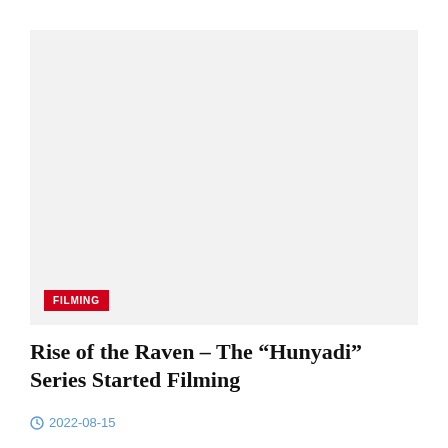[Figure (photo): A large light gray placeholder image representing a filming scene, with a red FILMING badge in the lower-left corner.]
Rise of the Raven – The “Hunyadi” Series Started Filming
2022-08-15